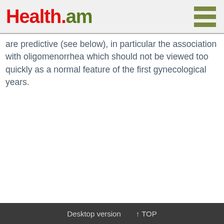Health.am
are predictive (see below), in particular the association with oligomenorrhea which should not be viewed too quickly as a normal feature of the first gynecological years.
Desktop version  ↑ TOP